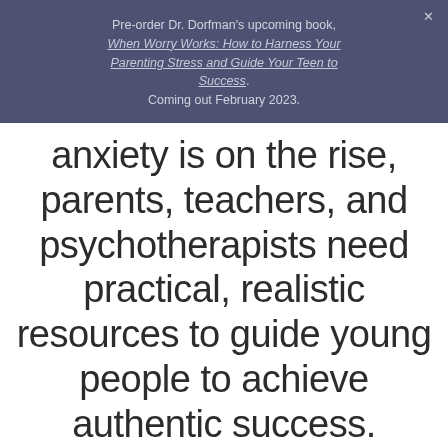Pre-order Dr. Dorfman's upcoming book, When Worry Works: How to Harness Your Parenting Stress and Guide Your Teen to Success. Coming out February 2023.
anxiety is on the rise, parents, teachers, and psychotherapists need practical, realistic resources to guide young people to achieve authentic success.
Schedule today